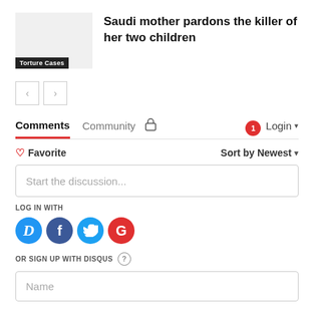Saudi mother pardons the killer of her two children
Torture Cases
Comments  Community  Login
Favorite  Sort by Newest
Start the discussion...
LOG IN WITH
OR SIGN UP WITH DISQUS
Name